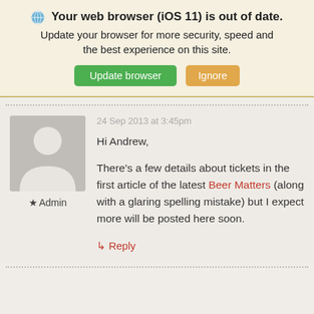🌐 Your web browser (iOS 11) is out of date. Update your browser for more security, speed and the best experience on this site. [Update browser] [Ignore]
24 Sep 2013 at 3:45pm
Hi Andrew,
[Figure (illustration): Generic avatar placeholder: grey rounded rectangle with a white silhouette of a person (circle head, body arc).]
★ Admin
There's a few details about tickets in the first article of the latest Beer Matters (along with a glaring spelling mistake) but I expect more will be posted here soon.
↳ Reply